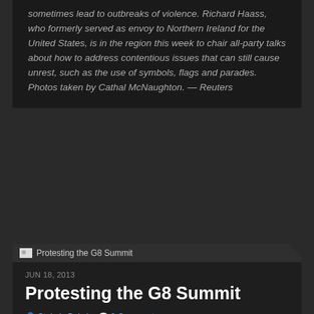sometimes lead to outbreaks of violence. Richard Haass, who formerly served as envoy to Northern Ireland for the United States, is in the region this week to chair all-party talks about how to address contentious issues that can still cause unrest, such as the use of symbols, flags and parades. Photos taken by Cathal McNaughton. — Reuters
[Figure (screenshot): Thumbnail placeholder image for 'Protesting the G8 Summit' article card]
JUN 18, 2013
Protesting the G8 Summit
Stokely Baksh   0 Comment   World   G8 Summit, Northern Ireland   32 photos
From the Syria War to ending world hunger and government corruption, a look at protestors at the June G8 Summit. Leaders of the G8 countries are meeting in Northern Ireland June 17-18.